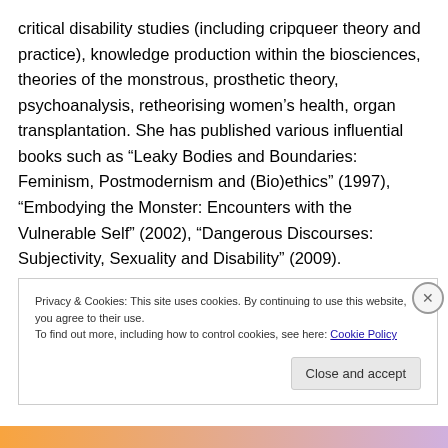critical disability studies (including cripqueer theory and practice), knowledge production within the biosciences, theories of the monstrous, prosthetic theory, psychoanalysis, retheorising women's health, organ transplantation. She has published various influential books such as “Leaky Bodies and Boundaries: Feminism, Postmodernism and (Bio)ethics” (1997), “Embodying the Monster: Encounters with the Vulnerable Self” (2002), “Dangerous Discourses: Subjectivity, Sexuality and Disability” (2009).
Privacy & Cookies: This site uses cookies. By continuing to use this website, you agree to their use.
To find out more, including how to control cookies, see here: Cookie Policy